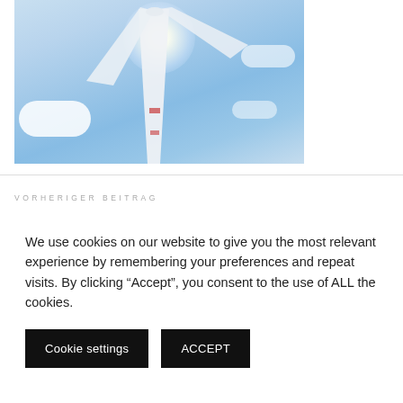[Figure (photo): Upward-looking photo of a wind turbine against a bright blue sky with white clouds and sun glare at the top]
VORHERIGER BEITRAG
We use cookies on our website to give you the most relevant experience by remembering your preferences and repeat visits. By clicking “Accept”, you consent to the use of ALL the cookies.
Cookie settings
ACCEPT